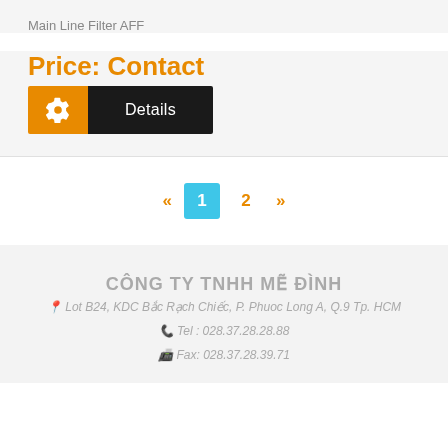Main Line Filter AFF
Price: Contact
[Figure (other): Details button with orange gear icon on the left and dark background with 'Details' text on the right]
« 1 2 »
CÔNG TY TNHH MẼ ĐÌNH
Lot B24, KDC Bắc Rạch Chiếc, P. Phuoc Long A, Q.9 Tp. HCM
Tel : 028.37.28.28.88
Fax: 028.37.28.39.71